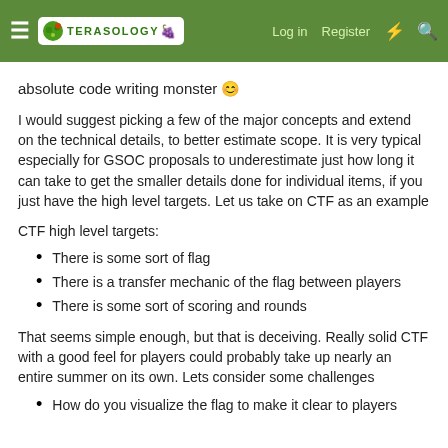Terasology — Log in | Register
absolute code writing monster 😊
I would suggest picking a few of the major concepts and extend on the technical details, to better estimate scope. It is very typical especially for GSOC proposals to underestimate just how long it can take to get the smaller details done for individual items, if you just have the high level targets. Let us take on CTF as an example
CTF high level targets:
There is some sort of flag
There is a transfer mechanic of the flag between players
There is some sort of scoring and rounds
That seems simple enough, but that is deceiving. Really solid CTF with a good feel for players could probably take up nearly an entire summer on its own. Lets consider some challenges
How do you visualize the flag to make it clear to players